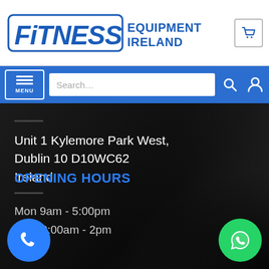[Figure (logo): Fitness Equipment Ireland logo in blue with italic bold text and shopping cart icon]
[Figure (screenshot): Blue navigation bar with MENU button, search box, search icon, and user icon]
Unit 1 Kylemore Park West, Dublin 10 D10WC62 Ireland
OPENING HOURS
M [Mon] 9am - 5:00pm
S [Sat] 10:00am - 2pm